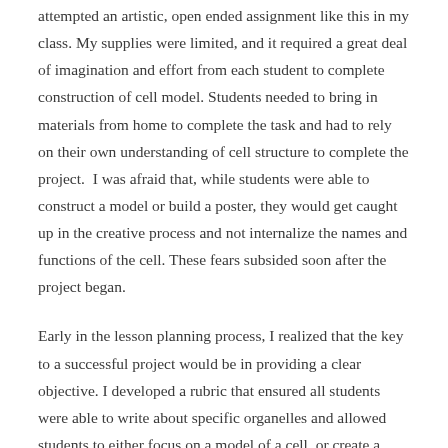attempted an artistic, open ended assignment like this in my class. My supplies were limited, and it required a great deal of imagination and effort from each student to complete construction of cell model. Students needed to bring in materials from home to complete the task and had to rely on their own understanding of cell structure to complete the project.  I was afraid that, while students were able to construct a model or build a poster, they would get caught up in the creative process and not internalize the names and functions of the cell. These fears subsided soon after the project began.
Early in the lesson planning process, I realized that the key to a successful project would be in providing a clear objective. I developed a rubric that ensured all students were able to write about specific organelles and allowed students to either focus on a model of a cell, or create a poster that served as an analogy of the